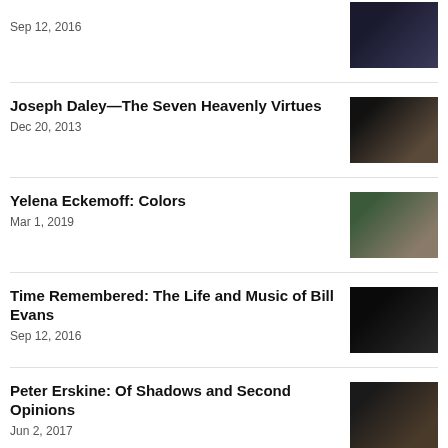Sep 12, 2016
Joseph Daley—The Seven Heavenly Virtues
Dec 20, 2013
Yelena Eckemoff: Colors
Mar 1, 2019
Time Remembered: The Life and Music of Bill Evans
Sep 12, 2016
Peter Erskine: Of Shadows and Second Opinions
Jun 2, 2017